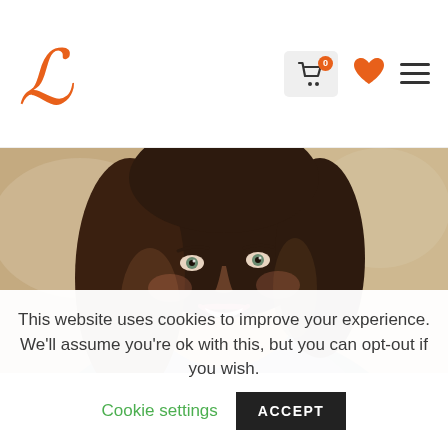L (logo) — navigation header with cart icon (0 items), heart/wishlist icon, hamburger menu
[Figure (photo): Portrait photo of a smiling woman with curly brown hair, wearing a grey blazer, with a warm blurred background]
This website uses cookies to improve your experience. We'll assume you're ok with this, but you can opt-out if you wish. Cookie settings ACCEPT